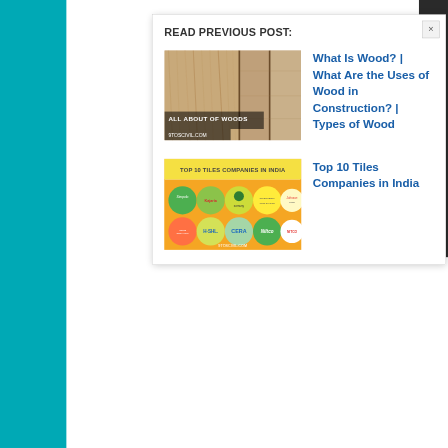READ PREVIOUS POST:
[Figure (photo): Wood texture thumbnail image with text overlay: ALL ABOUT OF WOODS / 9TOSCIVIL.COM]
What Is Wood? | What Are the Uses of Wood in Construction? | Types of Wood
[Figure (infographic): Top 10 Tiles Companies in India infographic showing logos: Simpolo, Kajaria, Somany, Orientbell, Johnson, Asian Ceramics, H&R, CERA, Nitco, Nitco, 9TOSCIVIL.COM]
Top 10 Tiles Companies in India
This ledge strong door can be created.
In this type of door, the braces are fixed diagonally to increase the tightness between the two ledges. In addition, the thickness of the stiles in this type of door is kept at